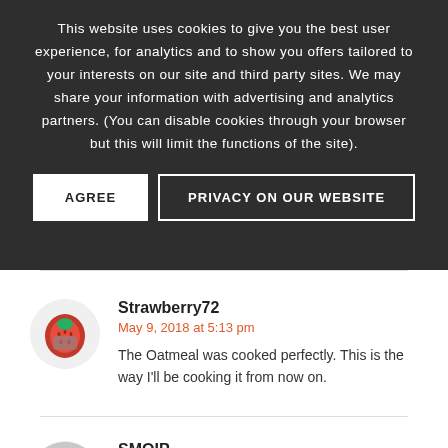This website uses cookies to give you the best user experience, for analytics and to show you offers tailored to your interests on our site and third party sites. We may share your information with advertising and analytics partners. (You can disable cookies through your browser but this will limit the functions of the site).
AGREE | PRIVACY ON OUR WEBSITE
Strawberry72
May 9, 2018 at 5:13 pm
The Oatmeal was cooked perfectly. This is the way I'll be cooking it from now on.
SMOIP